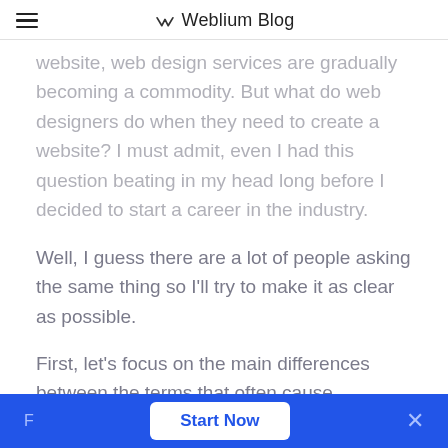Weblium Blog
website, web design services are gradually becoming a commodity. But what do web designers do when they need to create a website? I must admit, even I had this question beating in my head long before I decided to start a career in the industry.
Well, I guess there are a lot of people asking the same thing so I'll try to make it as clear as possible.
First, let's focus on the main differences between the terms that often cause confusion: web design and development.
Need a website? Get it made by Weblium at the
F  Start Now  ×